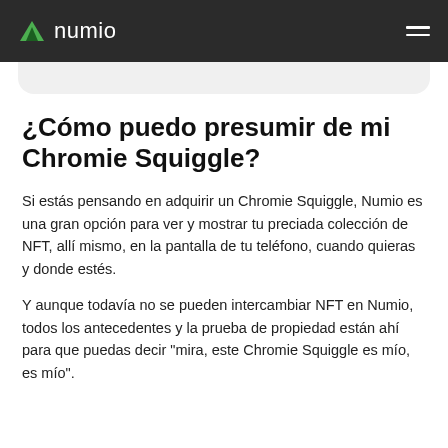numio
¿Cómo puedo presumir de mi Chromie Squiggle?
Si estás pensando en adquirir un Chromie Squiggle, Numio es una gran opción para ver y mostrar tu preciada colección de NFT, allí mismo, en la pantalla de tu teléfono, cuando quieras y donde estés.
Y aunque todavía no se pueden intercambiar NFT en Numio, todos los antecedentes y la prueba de propiedad están ahí para que puedas decir "mira, este Chromie Squiggle es mío, es mío".